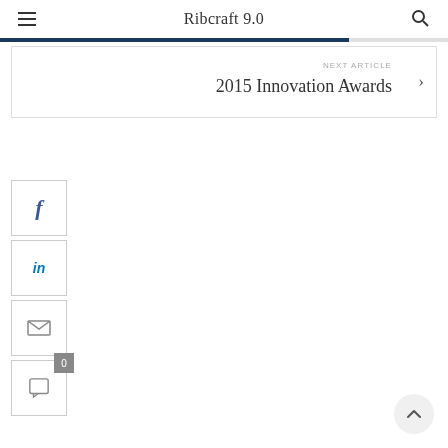Ribcraft 9.0
NEXT ARTICLE
2015 Innovation Awards
[Figure (infographic): Social share buttons: Facebook, LinkedIn, Email, and Comments (0) icons stacked vertically on the left side]
[Figure (other): Back to top button (up arrow in circle) in bottom right corner]